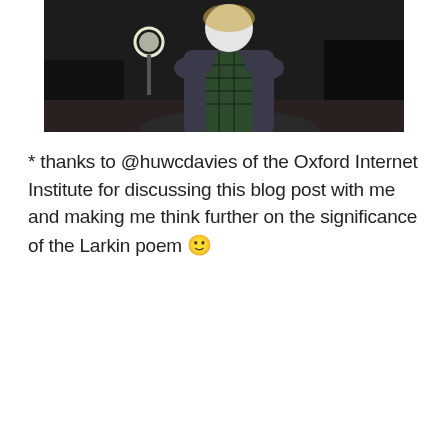[Figure (photo): A person standing outdoors at night wearing a dark vest over a plaid shirt. A circular light fixture or lamp is visible in the background. The person's face is obscured/blurred.]
* thanks to @huwcdavies of the Oxford Internet Institute for discussing this blog post with me and making me think further on the significance of the Larkin poem 🙂